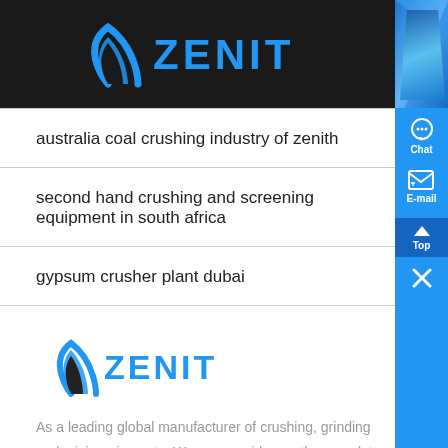[Figure (logo): Zenit logo with blue arch/mountain icon and ZENIT text in blue, on dark background, top header]
australia coal crushing industry of zenith
second hand crushing and screening equipment in south africa
gypsum crusher plant dubai
[Figure (logo): Zenit logo smaller, blue arch/mountain icon and ZENIT text in blue, on dark background, bottom section]
As a leading global manufacturer of crushing, grinding and mini equipments. We can provide you the complete stone crushing a beneficiation plant. We also supply stand-alone crushers, mills a